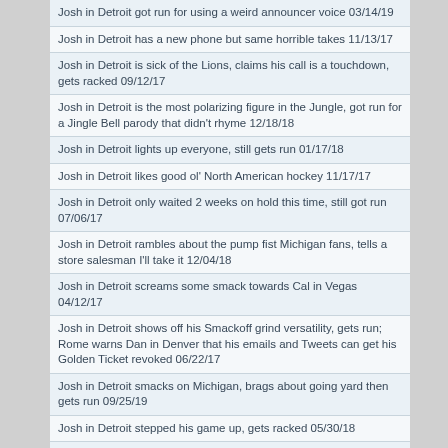Josh in Detroit got run for using a weird announcer voice 03/14/19
Josh in Detroit has a new phone but same horrible takes 11/13/17
Josh in Detroit is sick of the Lions, claims his call is a touchdown, gets racked 09/12/17
Josh in Detroit is the most polarizing figure in the Jungle, got run for a Jingle Bell parody that didn't rhyme 12/18/18
Josh in Detroit lights up everyone, still gets run 01/17/18
Josh in Detroit likes good ol' North American hockey 11/17/17
Josh in Detroit only waited 2 weeks on hold this time, still got run 07/06/17
Josh in Detroit rambles about the pump fist Michigan fans, tells a store salesman I'll take it 12/04/18
Josh in Detroit screams some smack towards Cal in Vegas 04/12/17
Josh in Detroit shows off his Smackoff grind versatility, gets run; Rome warns Dan in Denver that his emails and Tweets can get his Golden Ticket revoked 06/22/17
Josh in Detroit smacks on Michigan, brags about going yard then gets run 09/25/19
Josh in Detroit stepped his game up, gets racked 05/30/18
Josh in Detroit stumbles through a take about the Detroit Lions, gets run 08/17/17
Josh in Detroit takes a run at John in NY for his HOF appearance 11/14/19
Josh in Detroit takes a run at Rick's height and socks, claims to be Americas Caller 08/23/19
Josh in Detroit talked hockey playoffs, asked for a Golden Ticket, got run